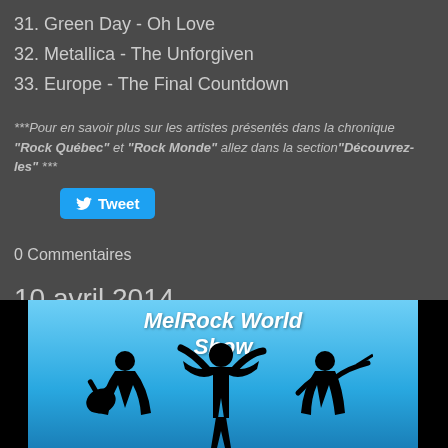31. Green Day - Oh Love
32. Metallica - The Unforgiven
33. Europe - The Final Countdown
***Pour en savoir plus sur les artistes présentés dans la chronique "Rock Québec" et "Rock Monde" allez dans la section"Découvrez-les" ***
Tweet
0 Commentaires
10 avril 2014
16/4/2014    0 Commentaires
[Figure (illustration): MelRock World Show logo with silhouette of musicians on blue background]